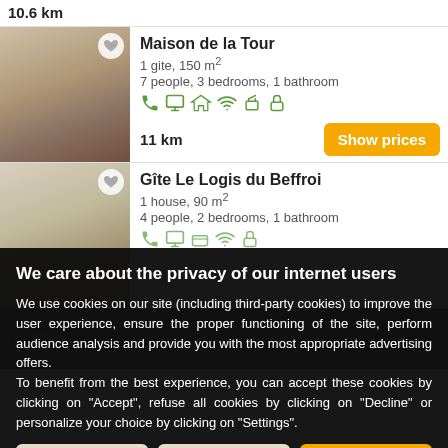10.6 km
Maison de la Tour
1 gite, 150 m²
7 people, 3 bedrooms, 1 bathroom
11 km
Gîte Le Logis du Beffroi
1 house, 90 m²
4 people, 2 bedrooms, 1 bathroom
We care about the privacy of our internet users
We use cookies on our site (including third-party cookies) to improve the user experience, ensure the proper functioning of the site, perform audience analysis and provide you with the most appropriate advertising offers.
To benefit from the best experience, you can accept these cookies by clicking on "Accept", refuse all cookies by clicking on "Decline" or personalize your choice by clicking on "Settings".